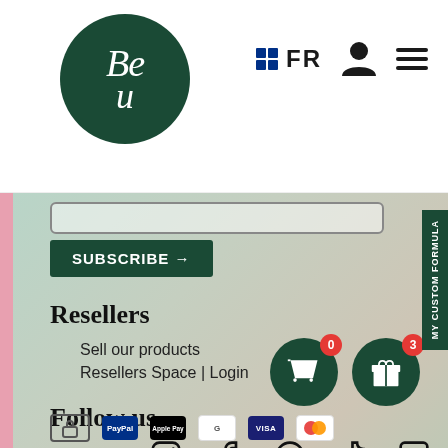[Figure (logo): Be u logo — dark green circle with white italic 'Be u' text]
FR
[Figure (screenshot): Search input bar (partially visible)]
SUBSCRIBE →
Resellers
Sell our products
Resellers Space | Login
Follow us
[Figure (infographic): Social media icons: Instagram, Facebook, Pinterest, TikTok, LinkedIn]
Language
FR
[Figure (infographic): Shopping cart button with badge '0' and gift button with badge '3']
MY CUSTOM FORMULA
[Figure (infographic): Payment method logos: lock, PayPal, Apple Pay, Google, Visa, Mastercard]